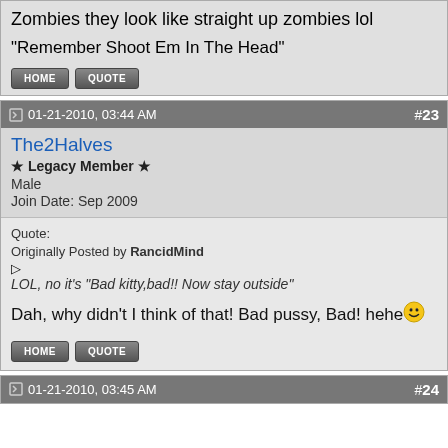Zombies they look like straight up zombies lol
"Remember Shoot Em In The Head"
01-21-2010, 03:44 AM  #23
The2Halves
★ Legacy Member ★
Male
Join Date: Sep 2009
Quote:
Originally Posted by RancidMind
LOL, no it's "Bad kitty,bad!! Now stay outside"
Dah, why didn't I think of that! Bad pussy, Bad! hehe
01-21-2010, 03:45 AM  #24